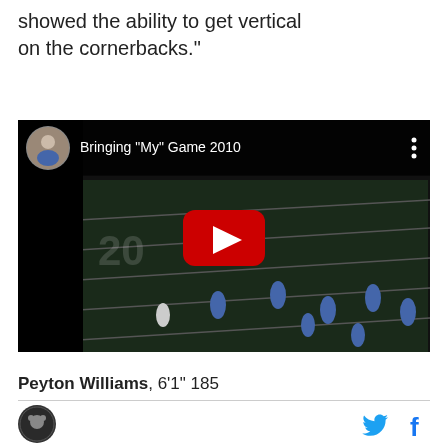showed the ability to get vertical on the cornerbacks."
[Figure (screenshot): YouTube video thumbnail showing a football game titled 'Bringing "My" Game 2010'. Dark field with players in blue uniforms visible, red YouTube play button in center, channel icon in top left corner with three-dot menu in top right.]
Peyton Williams, 6'1" 185
[Figure (logo): Site logo - circular dark badge with animal icon]
[Figure (logo): Twitter bird icon in blue and Facebook f icon in blue]